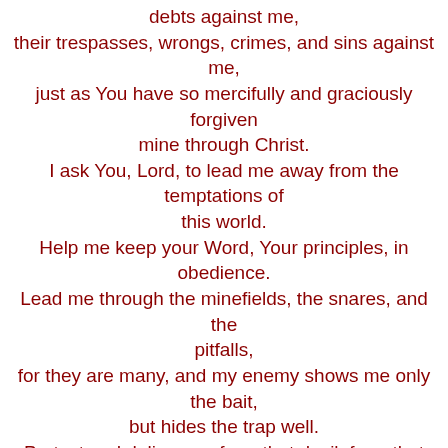debts against me,
their trespasses, wrongs, crimes, and sins against me,
just as You have so mercifully and graciously forgiven
mine through Christ.

I ask You, Lord, to lead me away from the temptations of this world.
Help me keep your Word, Your principles, in obedience.
Lead me through the minefields, the snares, and the pitfalls,
for they are many, and my enemy shows me only the bait,
but hides the trap well.
Protect and deliver me from that devil, from that evil one,
in Jesus name!

And finally, Almighty Father, I want to proclaim Your Kingdom.